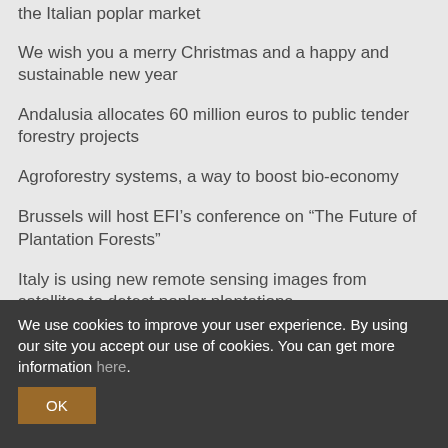the Italian poplar market
We wish you a merry Christmas and a happy and sustainable new year
Andalusia allocates 60 million euros to public tender forestry projects
Agroforestry systems, a way to boost bio-economy
Brussels will host EFI’s conference on “The Future of Plantation Forests”
Italy is using new remote sensing images from satellites to detect poplar plantations
France will monitor poplar plantations using new remote sensing images from satellites
Getting more visible and interacting with other networks at the heart of ProPopulus’ action plan
We use cookies to improve your user experience. By using our site you accept our use of cookies. You can get more information here.